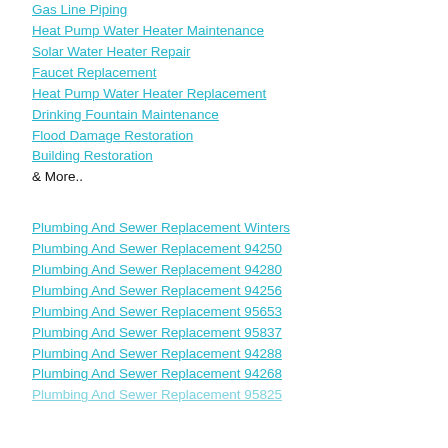Gas Line Piping
Heat Pump Water Heater Maintenance
Solar Water Heater Repair
Faucet Replacement
Heat Pump Water Heater Replacement
Drinking Fountain Maintenance
Flood Damage Restoration
Building Restoration
& More..
Plumbing And Sewer Replacement Winters
Plumbing And Sewer Replacement 94250
Plumbing And Sewer Replacement 94280
Plumbing And Sewer Replacement 94256
Plumbing And Sewer Replacement 95653
Plumbing And Sewer Replacement 95837
Plumbing And Sewer Replacement 94288
Plumbing And Sewer Replacement 94268
Plumbing And Sewer Replacement 95825